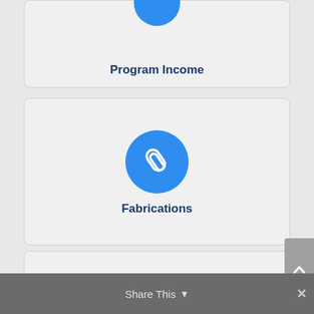[Figure (infographic): Card with blue circle icon (partially visible at top) and label 'Program Income' in dark navy bold text]
[Figure (infographic): Card with blue circle icon containing a paperclip symbol and label 'Fabrications' in dark navy bold text]
[Figure (infographic): Card with blue circle icon containing a dollar sign symbol and label 'Personnel' in dark navy bold text]
[Figure (infographic): Partial card at bottom of page, partially visible with a fourth icon circle (dark blue/teal) partially visible]
Share This
×